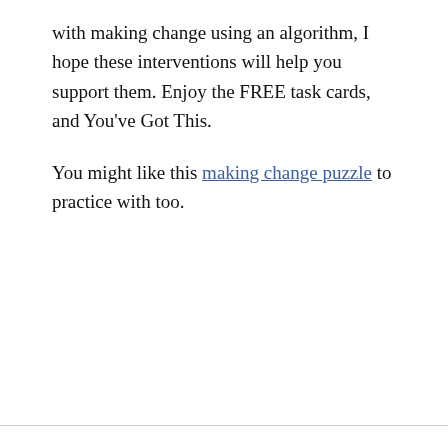with making change using an algorithm, I hope these interventions will help you support them. Enjoy the FREE task cards, and You've Got This.
You might like this making change puzzle to practice with too.